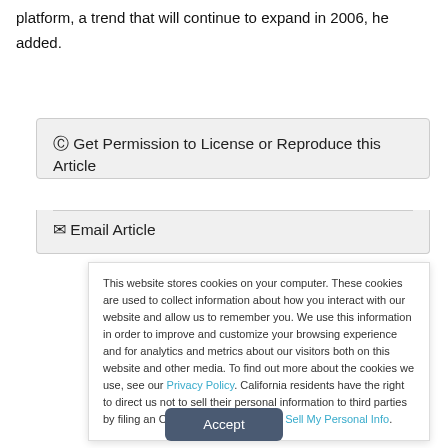platform, a trend that will continue to expand in 2006, he added.
© Get Permission to License or Reproduce this Article
✉ Email Article
This website stores cookies on your computer. These cookies are used to collect information about how you interact with our website and allow us to remember you. We use this information in order to improve and customize your browsing experience and for analytics and metrics about our visitors both on this website and other media. To find out more about the cookies we use, see our Privacy Policy. California residents have the right to direct us not to sell their personal information to third parties by filing an Opt-Out Request: Do Not Sell My Personal Info.
Accept